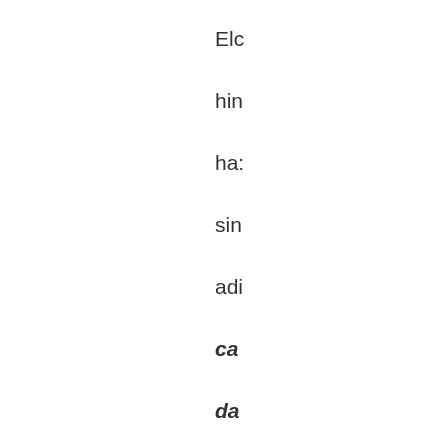Elc
hin
ha:
sin
adi
ca
da
to
No
sm
sa
Th
co:
me
of
all
tim